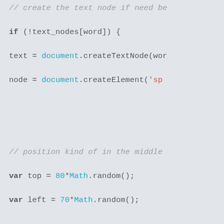[Figure (screenshot): JavaScript source code snippet showing DOM manipulation code including conditional creation of text nodes and elements, random positioning, setAttribute, appendChild, and object literal assignment.]